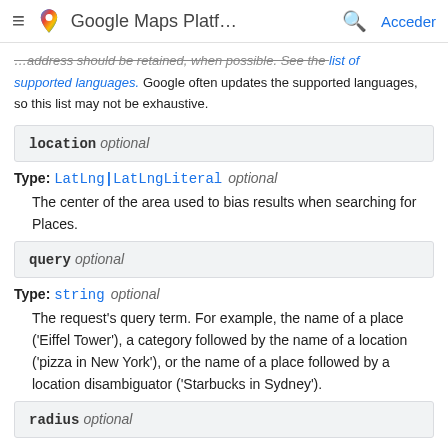Google Maps Platf...  Acceder
...address should be retained, when possible. See the list of supported languages. Google often updates the supported languages, so this list may not be exhaustive.
location  optional
Type: LatLng|LatLngLiteral  optional
The center of the area used to bias results when searching for Places.
query  optional
Type: string  optional
The request's query term. For example, the name of a place ('Eiffel Tower'), a category followed by the name of a location ('pizza in New York'), or the name of a place followed by a location disambiguator ('Starbucks in Sydney').
radius  optional